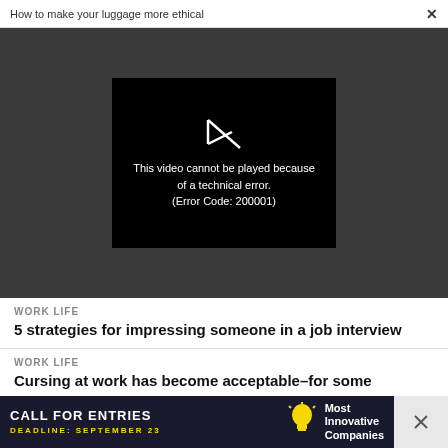How to make your luggage more ethical  ×
[Figure (screenshot): Video player showing error: 'This video cannot be played because of a technical error. (Error Code: 200001)' with a broken play button icon on dark background]
WORK LIFE
5 strategies for impressing someone in a job interview
WORK LIFE
Cursing at work has become acceptable–for some
[Figure (infographic): Advertisement banner: CALL FOR ENTRIES DEADLINE: SEPTEMBER 23 with lightbulb icon and 'Most Innovative Companies' text]